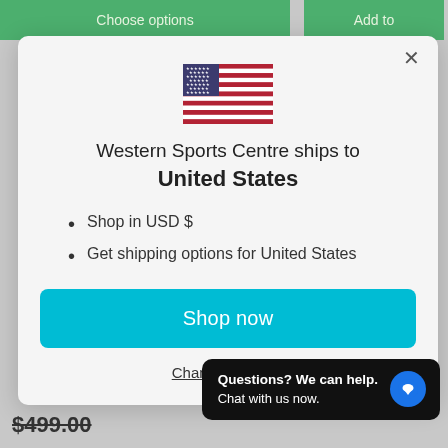Choose options   Add to
[Figure (illustration): US flag SVG illustration]
Western Sports Centre ships to United States
Shop in USD $
Get shipping options for United States
Shop now
Change shipping
Questions? We can help. Chat with us now.
$499.00